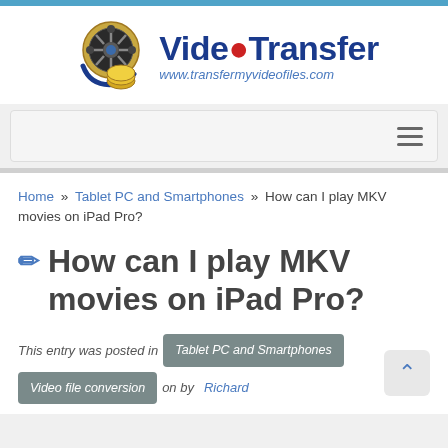[Figure (logo): VideoTransfer logo with film reel and coins icon, text 'VideoTransfer' in dark blue bold with red dot, URL www.transfermyvideofiles.com in italic blue below]
Home » Tablet PC and Smartphones » How can I play MKV movies on iPad Pro?
✏ How can I play MKV movies on iPad Pro?
This entry was posted in Tablet PC and Smartphones Video file conversion on by Richard